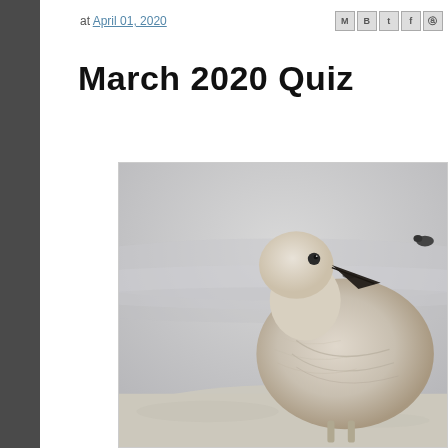at April 01, 2020
March 2020 Quiz
[Figure (photo): Close-up photograph of a young seagull (gull) standing on a beach. The bird is pale/off-white and beige with a dark-tipped bill, facing right. The background is a soft, foggy beach scene with waves. A second, smaller dark bird is visible in the far background.]